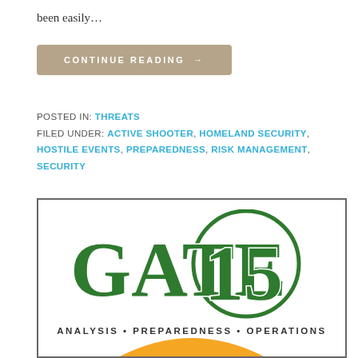been easily…
CONTINUE READING →
POSTED IN: THREATS
FILED UNDER: ACTIVE SHOOTER, HOMELAND SECURITY, HOSTILE EVENTS, PREPAREDNESS, RISK MANAGEMENT, SECURITY
[Figure (logo): Gate 15 logo with circle around '15', large green serif text 'GATE 15', tagline 'ANALYSIS • PREPAREDNESS • OPERATIONS', and partial orange arc at bottom.]